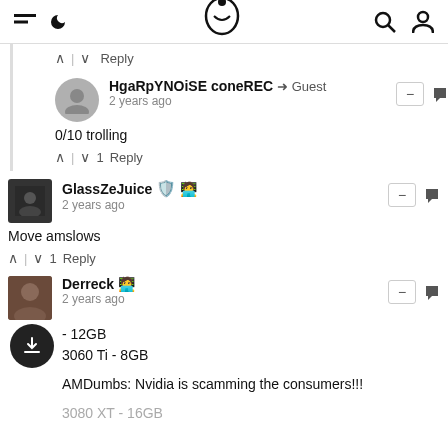navigation bar with hamburger menu, moon icon, site logo, search icon, user icon
^ | v  Reply
HgaRpYNOiSE coneREC → Guest
2 years ago
0/10 trolling
^ | v 1  Reply
GlassZeJuice
2 years ago
Move amslows
^ | v 1  Reply
Derreck
2 years ago
- 12GB
3060 Ti - 8GB

AMDumbs: Nvidia is scamming the consumers!!!

3080 XT - 16GB